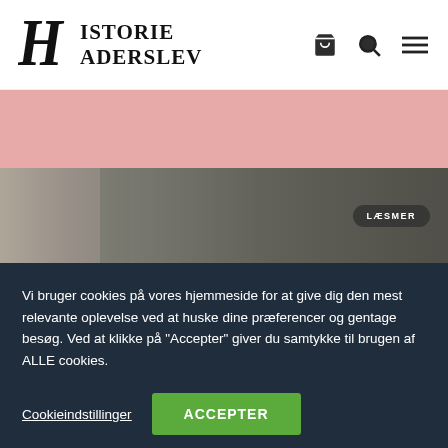[Figure (logo): Historie Haderslev logo with gothic H letter and stylized text]
[Figure (infographic): Pink banner section]
[Figure (photo): Grayscale historical photo of a person and trees with a LÆSMER button]
Vi bruger cookies på vores hjemmeside for at give dig den mest relevante oplevelse ved at huske dine præferencer og gentage besøg. Ved at klikke på "Accepter" giver du samtykke til brugen af ALLE cookies.
Cookieindstillinger
ACCEPTER